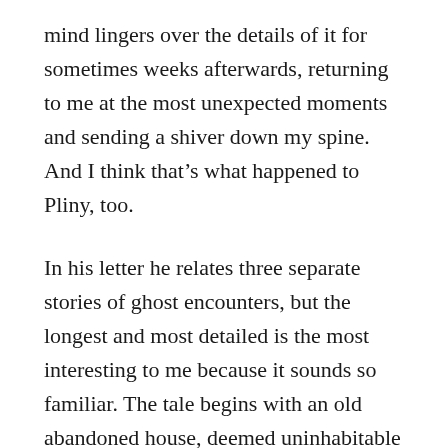mind lingers over the details of it for sometimes weeks afterwards, returning to me at the most unexpected moments and sending a shiver down my spine. And I think that’s what happened to Pliny, too.
In his letter he relates three separate stories of ghost encounters, but the longest and most detailed is the most interesting to me because it sounds so familiar. The tale begins with an old abandoned house, deemed uninhabitable because of the strange appearance of a shackled specter. Then one day the brave philosopher Athenodorus purchased the house, determined to live peacefully there.
Maybe the rumors got to him because he didn’t head to